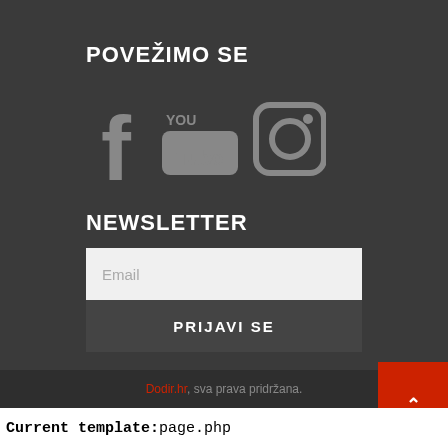POVEŽIMO SE
[Figure (illustration): Social media icons: Facebook, YouTube, Instagram]
NEWSLETTER
Email
PRIJAVI SE
Dodir.hr, sva prava pridržana.
Current template:page.php